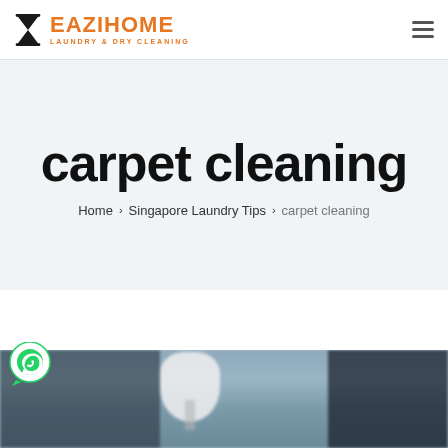[Figure (logo): EaziHome Laundry & Dry Cleaning logo with hourglass icon and orange text]
carpet cleaning
Home › Singapore Laundry Tips › carpet cleaning
[Figure (photo): Blurred interior room photo with lamp visible, used as page background/banner image]